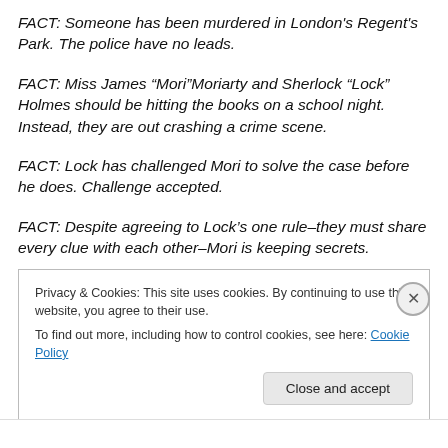FACT: Someone has been murdered in London's Regent's Park. The police have no leads.
FACT: Miss James “Mori”Moriarty and Sherlock “Lock” Holmes should be hitting the books on a school night. Instead, they are out crashing a crime scene.
FACT: Lock has challenged Mori to solve the case before he does. Challenge accepted.
FACT: Despite agreeing to Lock’s one rule–they must share every clue with each other–Mori is keeping secrets.
Privacy & Cookies: This site uses cookies. By continuing to use this website, you agree to their use.
To find out more, including how to control cookies, see here: Cookie Policy